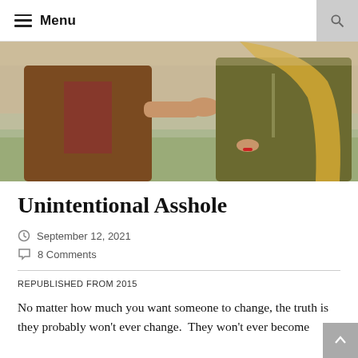Menu
[Figure (photo): Two people in leather jackets outdoors, one gesturing with open hands toward the other in what appears to be an argument or confrontation.]
Unintentional Asshole
September 12, 2021
8 Comments
REPUBLISHED FROM 2015
No matter how much you want someone to change, the truth is they probably won't ever change.  They won't ever become